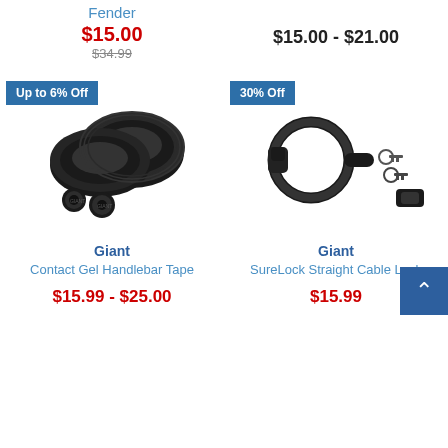Fender
$15.00
$34.99
$15.00 - $21.00
[Figure (photo): Black handlebar tape rolls with end caps, product photo on white background]
[Figure (photo): Black cable lock with keys and mounting bracket, product photo on white background]
Up to 6% Off
30% Off
Giant
Contact Gel Handlebar Tape
$15.99 - $25.00
Giant
SureLock Straight Cable Lock
$15.99